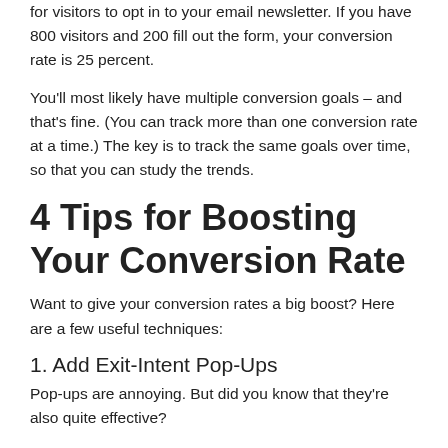for visitors to opt in to your email newsletter. If you have 800 visitors and 200 fill out the form, your conversion rate is 25 percent.
You'll most likely have multiple conversion goals – and that's fine. (You can track more than one conversion rate at a time.) The key is to track the same goals over time, so that you can study the trends.
4 Tips for Boosting Your Conversion Rate
Want to give your conversion rates a big boost? Here are a few useful techniques:
1. Add Exit-Intent Pop-Ups
Pop-ups are annoying. But did you know that they're also quite effective?